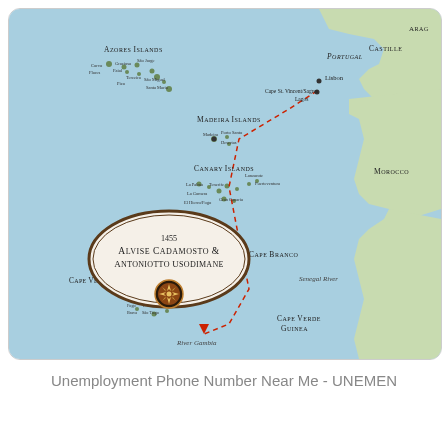[Figure (map): Historical navigation map showing the 1455 voyage route of Alvise Cadamosto and Antoniotto Usodimane. The map shows the Atlantic Ocean with the Iberian Peninsula, Morocco, Azores Islands, Madeira Islands, Canary Islands, Cape Verde Islands, and the West African coast. A red dashed line traces the voyage route from Lagos/Cape St. Vincent southward through Madeira, the Canary Islands, Cape Branco, past the Senegal River to the River Gambia and Cape Verde/Guinea area. An oval cartouche in the lower left reads '1455 Alvise Cadamosto & Antoniotto Usodimane' with a compass rose below it.]
Unemployment Phone Number Near Me - UNEMEN